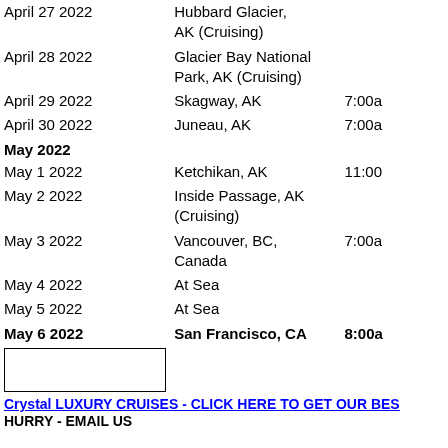| Date | Location | Time |
| --- | --- | --- |
| April 27 2022 | Hubbard Glacier, AK (Cruising) |  |
| April 28 2022 | Glacier Bay National Park, AK (Cruising) |  |
| April 29 2022 | Skagway, AK | 7:00a |
| April 30 2022 | Juneau, AK | 7:00a |
| May 2022 |  |  |
| May 1 2022 | Ketchikan, AK | 11:00 |
| May 2 2022 | Inside Passage, AK (Cruising) |  |
| May 3 2022 | Vancouver, BC, Canada | 7:00a |
| May 4 2022 | At Sea |  |
| May 5 2022 | At Sea |  |
| May 6 2022 | San Francisco, CA | 8:00a |
Crystal LUXURY CRUISES - CLICK HERE TO GET OUR BES
HURRY - EMAIL US